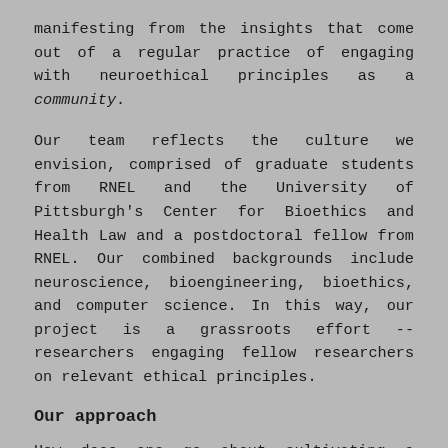manifesting from the insights that come out of a regular practice of engaging with neuroethical principles as a community.
Our team reflects the culture we envision, comprised of graduate students from RNEL and the University of Pittsburgh's Center for Bioethics and Health Law and a postdoctoral fellow from RNEL. Our combined backgrounds include neuroscience, bioengineering, bioethics, and computer science. In this way, our project is a grassroots effort -- researchers engaging fellow researchers on relevant ethical principles.
Our approach
How does one go about cultivating a neuroethical ethos?